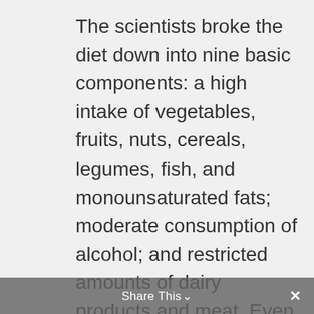The scientists broke the diet down into nine basic components: a high intake of vegetables, fruits, nuts, cereals, legumes, fish, and monounsaturated fats; moderate consumption of alcohol; and restricted amounts of dairy products and meat. Even those participants who did not stick perfectly with the Mediterranean diet were shown to reap enormous benefits. The women who adhered to seven of the nine components had a whopping 57 percent drop in their uterine cancer risk. In addition, the volunteers who remained steadfast to six of the nine components lessened their risk of uterine cancer by 46 percent, and even the ones
Share This ∨  ✕